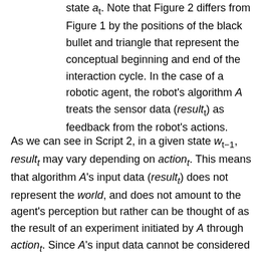state a_t. Note that Figure 2 differs from Figure 1 by the positions of the black bullet and triangle that represent the conceptual beginning and end of the interaction cycle. In the case of a robotic agent, the robot's algorithm A treats the sensor data (result_t) as feedback from the robot's actions.
As we can see in Script 2, in a given state w_{t-1}, result_t may vary depending on action_t. This means that algorithm A's input data (result_t) does not represent the world, and does not amount to the agent's perception but rather can be thought of as the result of an experiment initiated by A through action_t. Since A's input data cannot be considered